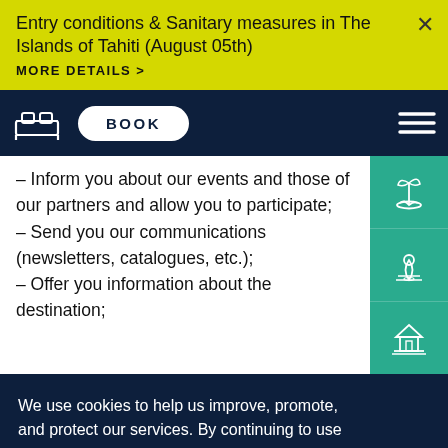Entry conditions & Sanitary measures in The Islands of Tahiti (August 05th)
MORE DETAILS >
[Figure (screenshot): Navigation bar with bed icon, BOOK button, and hamburger menu on dark navy background]
– Inform you about our events and those of our partners and allow you to participate;
– Send you our communications (newsletters, catalogues, etc.);
– Offer you information about the destination;
We use cookies to help us improve, promote, and protect our services. By continuing to use the site, you agree to our cookie policy.
Do not sell my information